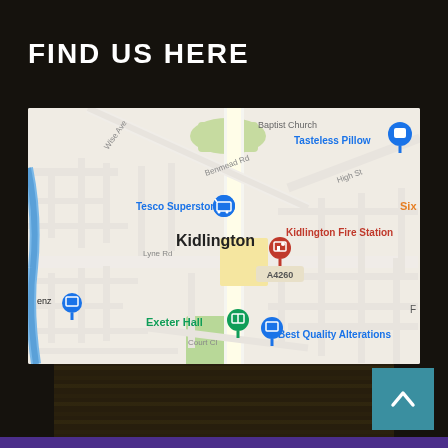FIND US HERE
[Figure (map): Google Maps screenshot showing Kidlington area, UK. Visible landmarks include Tesco Superstore, Kidlington Fire Station, Exeter Hall, Best Quality Alterations, Tasteless Pillow, and a blue river/road on the left. Road A4260 is labeled. Streets include Benmead Rd, Lyne Rd, Court Cl, Wise Ave, High St.]